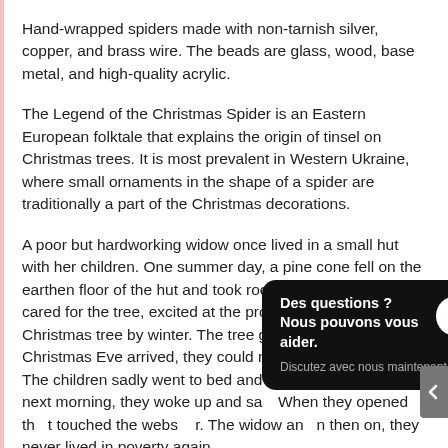Hand-wrapped spiders made with non-tarnish silver, copper, and brass wire. The beads are glass, wood, base metal, and high-quality acrylic.
The Legend of the Christmas Spider is an Eastern European folktale that explains the origin of tinsel on Christmas trees. It is most prevalent in Western Ukraine, where small ornaments in the shape of a spider are traditionally a part of the Christmas decorations.
A poor but hardworking widow once lived in a small hut with her children. One summer day, a pine cone fell on the earthen floor of the hut and took root. The widow's children cared for the tree, excited at the prospect of having a Christmas tree by winter. The tree grew, but when Christmas Eve arrived, they could not afford to decorate it. The children sadly went to bed and fell asleep. Early the next morning, they woke up and sa[...] When they opened th[...] t touched the webs [...] r. The widow an[...] then on, they never lived in poverty again.
[Figure (screenshot): Chat popup overlay with dark background reading 'Des questions ? Nous pouvons vous aider.' with blue chat icon and subtext 'Discutez avec nous maintenant.']